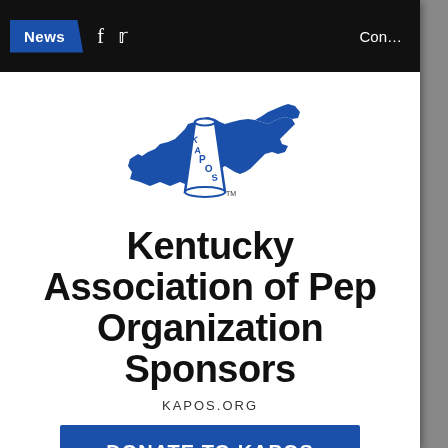News  f  [twitter]  Con…
[Figure (logo): KAPOS logo: blue silhouette of Kentucky state with a megaphone in the center reading KAPOS with a TM mark]
Kentucky Association of Pep Organization Sponsors
KAPOS.ORG
DONATE TO KAPOS